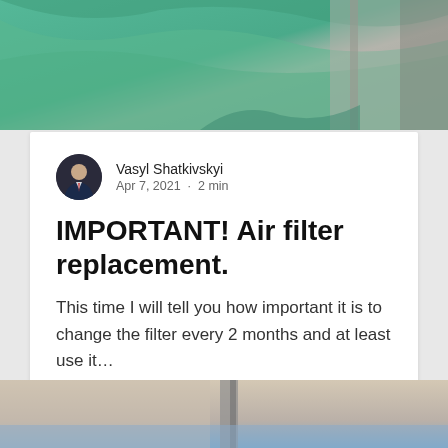[Figure (photo): Top portion of a photo showing green fabric/tarp over what appears to be an air filter or HVAC duct with grey/dirty edges]
Vasyl Shatkivskyi
Apr 7, 2021 · 2 min
IMPORTANT! Air filter replacement.
This time I will tell you how important it is to change the filter every 2 months and at least use it…
34  0
[Figure (photo): Bottom portion of a photo showing what appears to be an air filter or HVAC duct component with beige/tan surroundings]